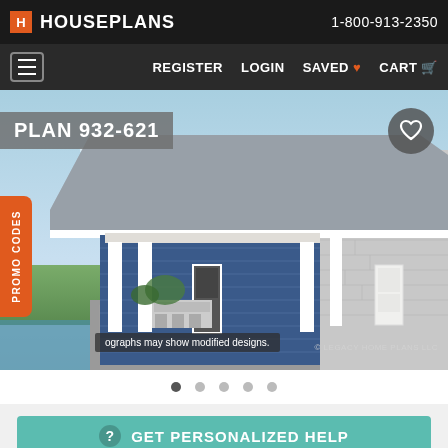HOUSEPLANS — 1-800-913-2350
REGISTER  LOGIN  SAVED  CART
[Figure (photo): Exterior rendering of house plan 932-621, showing a garage structure with blue siding, white trim, a covered pergola area with outdoor kitchen, brick wall, and landscaping. Pool visible in foreground. Sky background.]
photographs may show modified designs.
© LEGACY HOME PLANS LLC
GET PERSONALIZED HELP